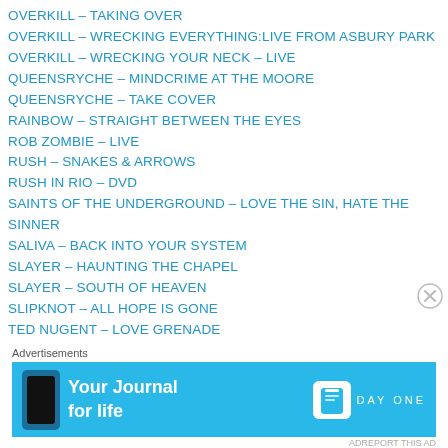OVERKILL – TAKING OVER
OVERKILL – WRECKING EVERYTHING:LIVE FROM ASBURY PARK
OVERKILL – WRECKING YOUR NECK – LIVE
QUEENSRYCHE – MINDCRIME AT THE MOORE
QUEENSRYCHE – TAKE COVER
RAINBOW – STRAIGHT BETWEEN THE EYES
ROB ZOMBIE – LIVE
RUSH – SNAKES & ARROWS
RUSH IN RIO – DVD
SAINTS OF THE UNDERGROUND – LOVE THE SIN, HATE THE SINNER
SALIVA – BACK INTO YOUR SYSTEM
SLAYER – HAUNTING THE CHAPEL
SLAYER – SOUTH OF HEAVEN
SLIPKNOT – ALL HOPE IS GONE
TED NUGENT – LOVE GRENADE
TED(?) – (partially visible)
Advertisements
[Figure (other): Advertisement banner for Day One - Your Journal for life app, light blue background with phone image and Day One logo]